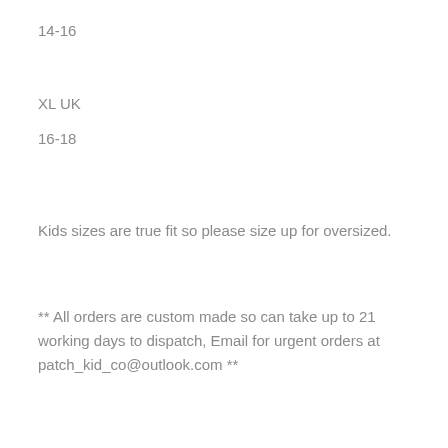14-16
XL UK
16-18
Kids sizes are true fit so please size up for oversized.
** All orders are custom made so can take up to 21 working days to dispatch, Email for urgent orders at patch_kid_co@outlook.com **